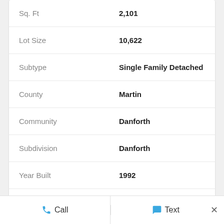| Label | Value |
| --- | --- |
| Sq. Ft | 2,101 |
| Lot Size | 10,622 |
| Subtype | Single Family Detached |
| County | Martin |
| Community | Danforth |
| Subdivision | Danforth |
| Year Built | 1992 |
| Days on Market | 61 |
Property Description
Call   Text